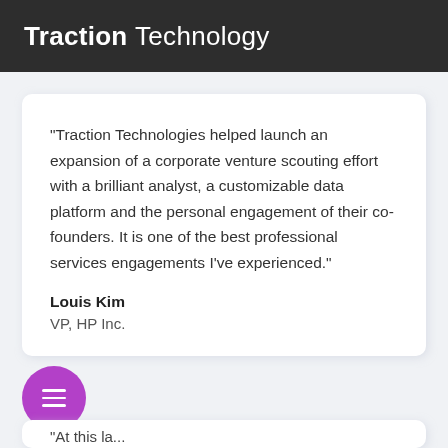Traction Technology
"Traction Technologies helped launch an expansion of a corporate venture scouting effort with a brilliant analyst, a customizable data platform and the personal engagement of their co-founders. It is one of the best professional services engagements I've experienced."
Louis Kim
VP, HP Inc.
[Figure (other): Purple circular menu button with three horizontal white lines (hamburger icon)]
"At this la...